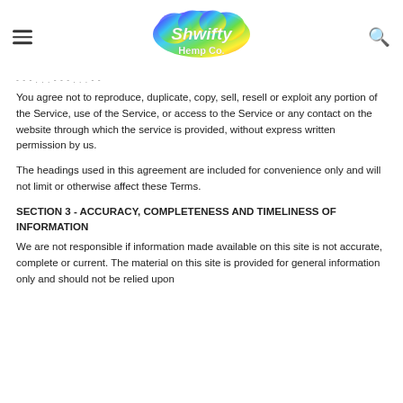Shwifty Hemp Co. [logo]
You agree not to reproduce, duplicate, copy, sell, resell or exploit any portion of the Service, use of the Service, or access to the Service or any contact on the website through which the service is provided, without express written permission by us.
The headings used in this agreement are included for convenience only and will not limit or otherwise affect these Terms.
SECTION 3 - ACCURACY, COMPLETENESS AND TIMELINESS OF INFORMATION
We are not responsible if information made available on this site is not accurate, complete or current. The material on this site is provided for general information only and should not be relied upon